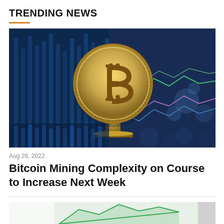TRENDING NEWS
[Figure (photo): A golden Bitcoin coin on a trophy stand against a blurred stock market chart background with blue and purple tones]
Aug 28, 2022
Bitcoin Mining Complexity on Course to Increase Next Week
[Figure (photo): Partial bottom preview of a second news article image showing green upward trend]